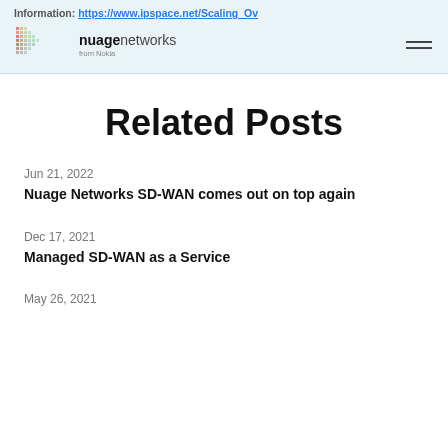Information: https://www.ipspace.net/Scaling_Ov
[Figure (logo): Nuage Networks from Nokia logo with colorful dot-matrix bird/tree graphic]
Related Posts
Jun 21, 2022
Nuage Networks SD-WAN comes out on top again
Dec 17, 2021
Managed SD-WAN as a Service
May 26, 2021